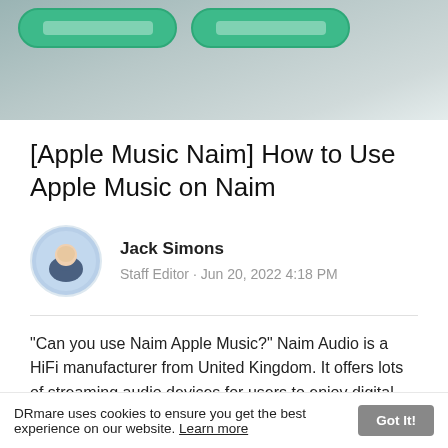[Figure (screenshot): Top banner image showing two green rounded buttons on a blurred grey/teal background]
[Apple Music Naim] How to Use Apple Music on Naim
Jack Simons
Staff Editor · Jun 20, 2022 4:18 PM
"Can you use Naim Apple Music?" Naim Audio is a HiFi manufacturer from United Kingdom. It offers lots of streaming audio devices for users to enjoy digital music. Besides, it allows users to listen to music via Spotify Connect, Tidal, AirPlay, USB drive and so on.
DRmare uses cookies to ensure you get the best experience on our website. Learn more  Got It!